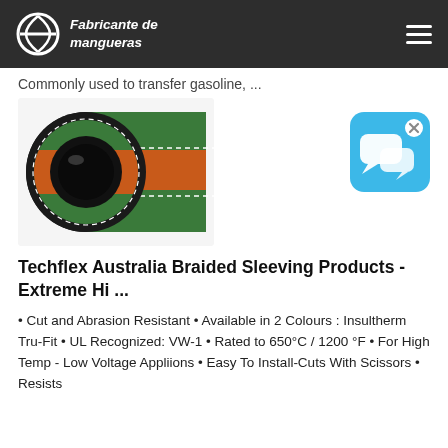Fabricante de mangueras
Commonly used to transfer gasoline, ...
[Figure (photo): Cross-section photo of a green and orange braided industrial hose showing layered construction]
[Figure (illustration): Blue speech bubble chat icon with white x button in corner]
Techflex Australia Braided Sleeving Products - Extreme Hi ...
• Cut and Abrasion Resistant • Available in 2 Colours : Insultherm Tru-Fit • UL Recognized: VW-1 • Rated to 650°C / 1200 °F • For High Temp - Low Voltage Appliions • Easy To Install-Cuts With Scissors • Resists